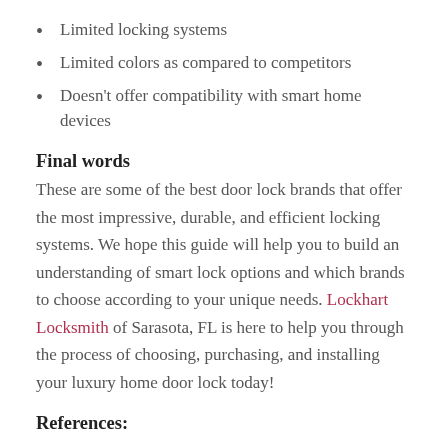Limited locking systems
Limited colors as compared to competitors
Doesn't offer compatibility with smart home devices
Final words
These are some of the best door lock brands that offer the most impressive, durable, and efficient locking systems. We hope this guide will help you to build an understanding of smart lock options and which brands to choose according to your unique needs. Lockhart Locksmith of Sarasota, FL is here to help you through the process of choosing, purchasing, and installing your luxury home door lock today!
References: